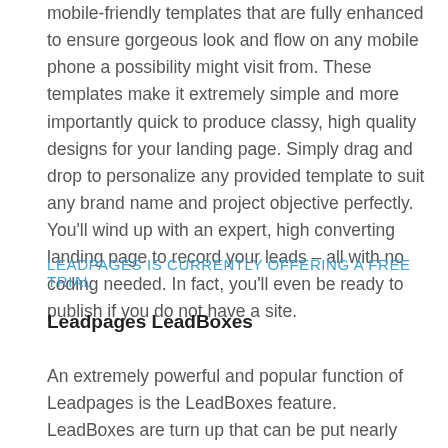mobile-friendly templates that are fully enhanced to ensure gorgeous look and flow on any mobile phone a possibility might visit from. These templates make it extremely simple and more importantly quick to produce classy, high quality designs for your landing page. Simply drag and drop to personalize any provided template to suit any brand name and project objective perfectly. You'll wind up with an expert, high converting landing page to record your leads – all with no coding needed. In fact, you'll even be ready to publish if you do not have a site.
LEADPAGES IS CURRENTLY OFFERING A FREE TRIAL
Leadpages LeadBoxes
An extremely powerful and popular function of Leadpages is the LeadBoxes feature. LeadBoxes are turn up that can be put nearly anywhere throughout your digital properties such as blog sites, individual